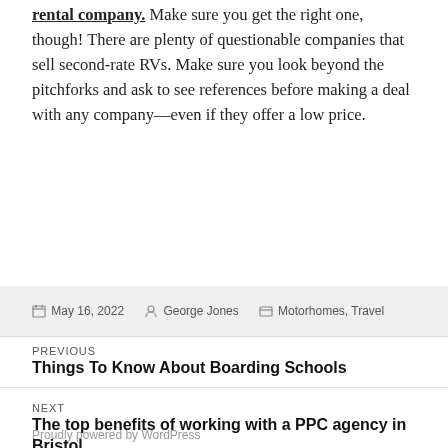rental company. Make sure you get the right one, though! There are plenty of questionable companies that sell second-rate RVs. Make sure you look beyond the pitchforks and ask to see references before making a deal with any company—even if they offer a low price.
Posted May 16, 2022  Author George Jones  Categories Motorhomes, Travel
PREVIOUS
Things To Know About Boarding Schools
NEXT
The top benefits of working with a PPC agency in Bristol
Proudly powered by WordPress